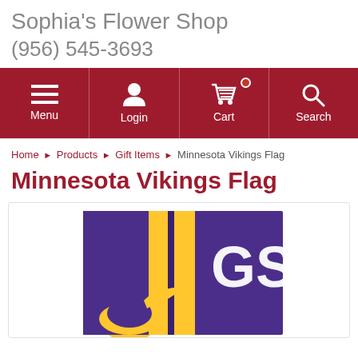Sophia's Flower Shop
(956) 545-3693
Menu Login Cart Search
Home ▶ Products ▶ Gift Items ▶ Minnesota Vikings Flag
Minnesota Vikings Flag
[Figure (photo): Minnesota Vikings Flag product photo showing purple flag with gold vertical stripe and white text 'GS' partially visible, with Vikings logo helmet visible at bottom]